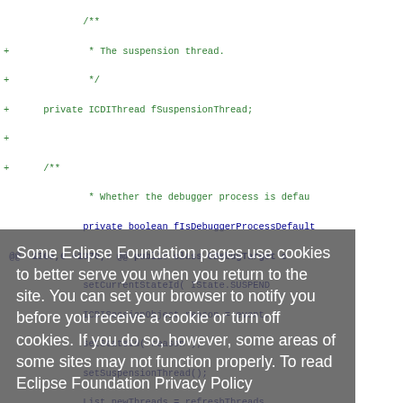[Figure (screenshot): Code diff view showing Java source code with green added lines (+) and blue diff headers, showing ICDIThread, fSuspensionThread, CDebugTarget class methods including suspension state management]
Some Eclipse Foundation pages use cookies to better serve you when you return to the site. You can set your browser to notify you before you receive a cookie or turn off cookies. If you do so, however, some areas of some sites may not function properly. To read Eclipse Foundation Privacy Policy click here.